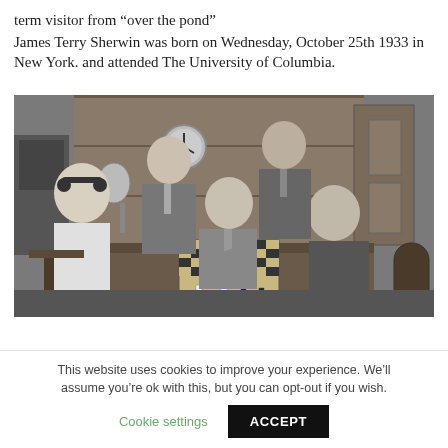term visitor from “over the pond”
James Terry Sherwin was born on Wednesday, October 25th 1933 in New York. and attended The University of Columbia.
[Figure (photo): Black and white photograph of several young men gathered around a table playing chess. One man wearing headphones sits with his back to the camera on the left. Two men in suits are seated at the chess board, one moving a piece. Two other men in suits stand behind watching. The setting appears to be a club room with wooden walls and a clock visible in the background.]
This website uses cookies to improve your experience. We’ll assume you’re ok with this, but you can opt-out if you wish.
Cookie settings
ACCEPT